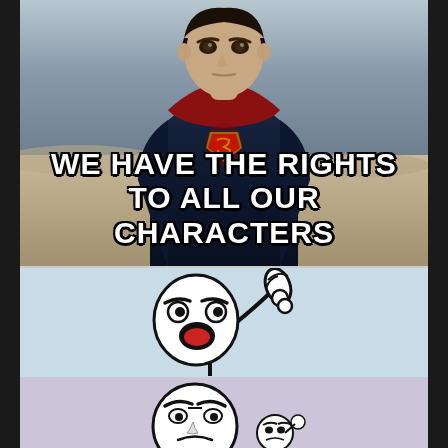[Figure (photo): A person dressed in a Superman costume (dark blue and red suit with the Superman emblem) standing outdoors in a desert/arid landscape setting. The figure is shown from the torso up, looking directly at the camera with a serious expression. Bold white meme text overlaid at the bottom reads: WE HAVE THE RIGHTS TO ALL OUR CHARACTERS]
WE HAVE THE RIGHTS TO ALL OUR CHARACTERS
[Figure (illustration): A rage comic / stick figure meme face character (the 'cereal guy' or similar rage face) with an angry/surprised expression, raising one finger (pointing up) as if making an argument. Set against a light blue background. The figure has exaggerated eyes with furrowed brows and an open mouth.]
[Figure (illustration): The bottom portion of the meme showing another rage comic stick figure face with an angry/grumpy expression and a smaller figure beside it (appears to be a miniature version). Set against a light purple/lavender background.]